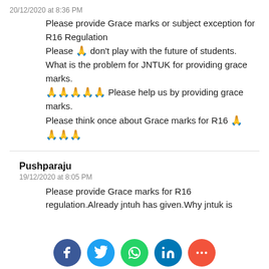20/12/2020 at 8:36 PM
Please provide Grace marks or subject exception for R16 Regulation
Please 🙏 don't play with the future of students.
What is the problem for JNTUK for providing grace marks.
🙏🙏🙏🙏🙏 Please help us by providing grace marks.
Please think once about Grace marks for R16 🙏
🙏🙏🙏
Pushparaju
19/12/2020 at 8:05 PM
Please provide Grace marks for R16 regulation.Already jntuh has given.Why jntuk is